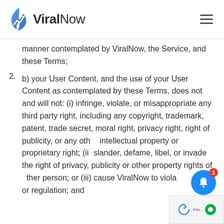ViralNow
manner contemplated by ViralNow, the Service, and these Terms;
b) your User Content, and the use of your User Content as contemplated by these Terms, does not and will not: (i) infringe, violate, or misappropriate any third party right, including any copyright, trademark, patent, trade secret, moral right, privacy right, right of publicity, or any other intellectual property or proprietary right; (ii) slander, defame, libel, or invade the right of privacy, publicity or other property rights of other person; or (iii) cause ViralNow to violate any law or regulation; and